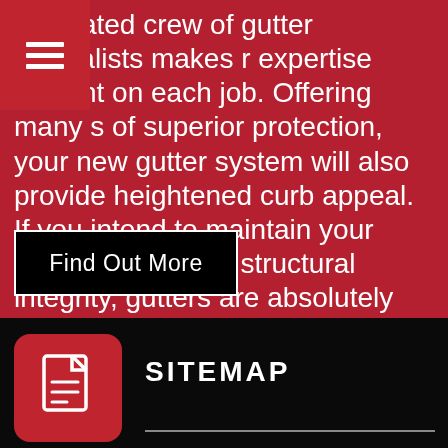dedicated crew of gutter specialists makes r expertise evident on each job. Offering many s of superior protection, your new gutter system will also provide heightened curb appeal. If you intend to maintain your home's value and structural integrity, gutters are absolutely necessary.
Find Out More
[Figure (logo): Document/file icon in white on red rounded square background]
SITEMAP